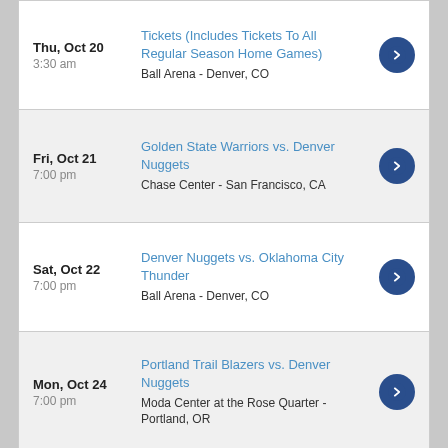Thu, Oct 20 | 3:30 am | Tickets (Includes Tickets To All Regular Season Home Games) | Ball Arena - Denver, CO
Fri, Oct 21 | 7:00 pm | Golden State Warriors vs. Denver Nuggets | Chase Center - San Francisco, CA
Sat, Oct 22 | 7:00 pm | Denver Nuggets vs. Oklahoma City Thunder | Ball Arena - Denver, CO
Mon, Oct 24 | 7:00 pm | Portland Trail Blazers vs. Denver Nuggets | Moda Center at the Rose Quarter - Portland, OR